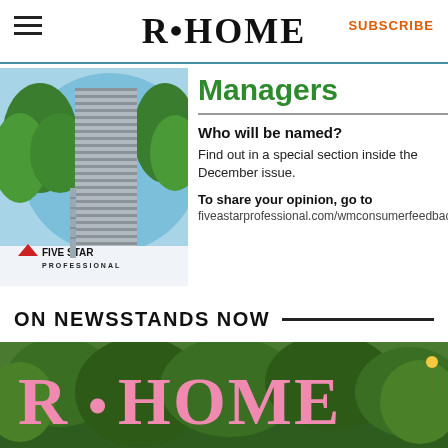R•HOME  SUBSCRIBE
[Figure (photo): Five Star Professional ad: circular image of a glass skyscraper with green trees against blue sky, Five Star Professional logo at bottom left]
Managers
Who will be named? Find out in a special section inside the December issue.
To share your opinion, go to fiveastarprofessional.com/wmconsumerfeedback
ON NEWSSTANDS NOW
[Figure (photo): R•HOME magazine cover displayed on newsstand, showing the pink R•HOME logo over green garden/tree background]